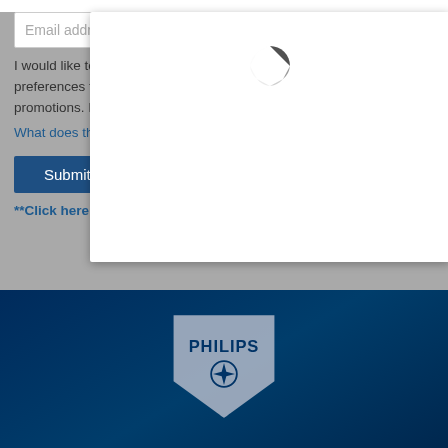Email address (Required)
I would like to receive personalized news and offers based on my preferences from Philips about products, services, events and promotions. I can easily unsubscribe at any time!
What does this mean? ›
Submit
**Click here to read about voucher terms and conditions ›
[Figure (logo): Philips logo with shield shape and brand name on dark navy blue footer background]